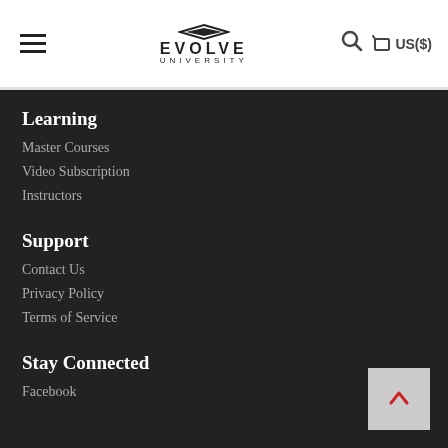Evolve University — navigation header with hamburger menu, logo, search icon, cart US($)
Learning
Master Courses
Video Subscription
Instructors
Support
Contact Us
Privacy Policy
Terms of Service
Stay Connected
Facebook